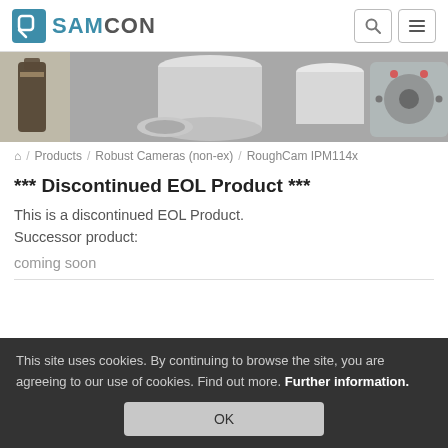SAMCON
[Figure (photo): Industrial equipment: stainless steel cylinders, cameras, flanges, and a wine bottle on the left side]
⌂ / Products / Robust Cameras (non-ex) / RoughCam IPM114x
*** Discontinued EOL Product ***
This is a discontinued EOL Product. Successor product:
coming soon
This site uses cookies. By continuing to browse the site, you are agreeing to our use of cookies. Find out more. Further information.
OK